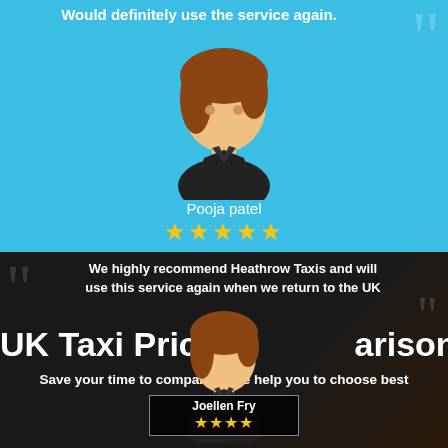Would definitely use the service again.
[Figure (illustration): Cartoon female avatar with brown hair and black outfit, on cyan/blue background]
Pooja patel
★★★★★
We highly recommend Heathrow Taxis and will use this service again when we return to the UK
UK Taxi Price Comparison Service
Save your time to compare. We help you to choose best
[Figure (illustration): Cartoon female avatar with brown hair and black outfit, overlaid on dark taxi background]
Joellen Fry
★★★★